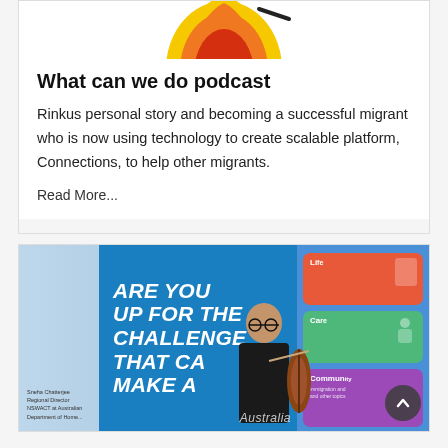[Figure (illustration): Podcast logo at top of card, partially visible — appears to be a colorful shield/flame icon in orange, yellow, red with a black dash]
What can we do podcast
Rinkus personal story and becoming a successful migrant who is now using technology to create scalable platform, Connections, to help other migrants.
Read More...
[Figure (photo): Photo of a conference or event setting with a blue banner reading 'ARE YOU UP FOR THE CHALLENGE THAT CAN MAKE A' and a man playing cello in the foreground. Right side shows a mobile app UI mockup. Left side shows a person with labels 'Sneha Chatterjee, Regional Director, NSWACT at Australian Department of Home...']